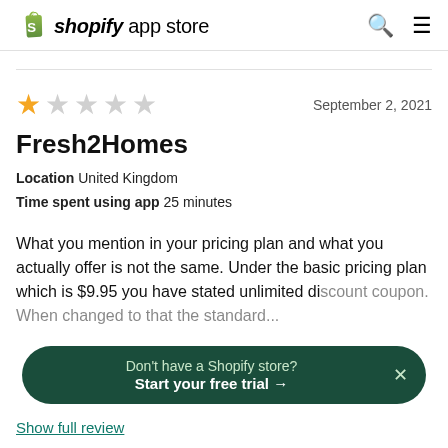shopify app store
1 out of 5 stars  September 2, 2021
Fresh2Homes
Location  United Kingdom
Time spent using app  25 minutes
What you mention in your pricing plan and what you actually offer is not the same. Under the basic pricing plan which is $9.95 you have stated unlimited di...
Don't have a Shopify store?
Start your free trial →
Show full review